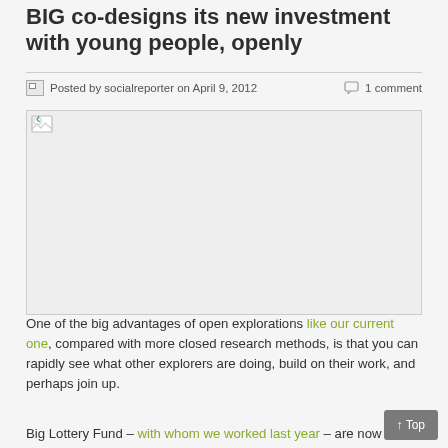BIG co-designs its new investment with young people, openly
Posted by socialreporter on April 9, 2012   1 comment
[Figure (photo): Broken/missing image placeholder with gray background]
One of the big advantages of open explorations like our current one, compared with more closed research methods, is that you can rapidly see what other explorers are doing, build on their work, and perhaps join up.
Big Lottery Fund – with whom we worked last year – are now